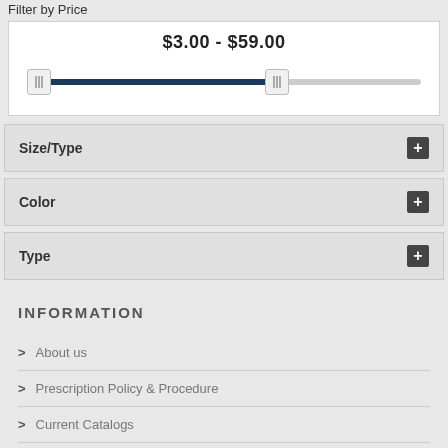Filter by Price
[Figure (other): Price range slider showing $3.00 - $59.00 with a dark blue filled track and two white thumb handles]
Size/Type
Color
Type
INFORMATION
About us
Prescription Policy & Procedure
Current Catalogs
Producer Rebates & Programs